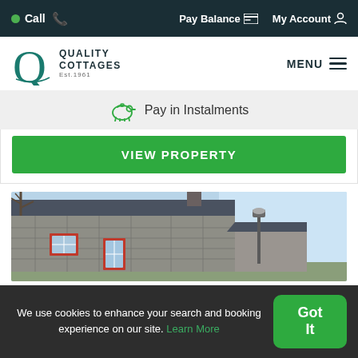Call  |  Pay Balance  |  My Account
[Figure (logo): Quality Cottages logo with Q mark and Est. 1961 text]
MENU
Pay in Instalments
VIEW PROPERTY
[Figure (photo): Stone cottage building with slate roof, red window frames, and a lamp post against a blue sky]
We use cookies to enhance your search and booking experience on our site. Learn More
Got It